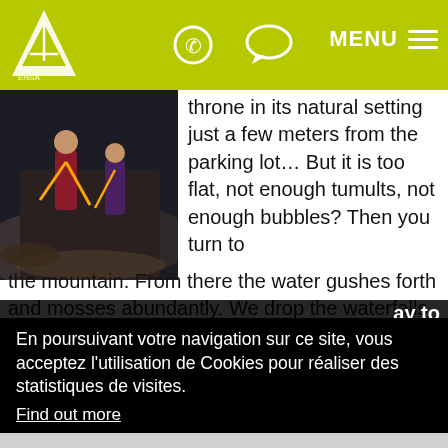MENU
[Figure (photo): Two climbers/cavers on a rocky surface with ropes, dark cave environment]
throne in its natural setting just a few meters from the parking lot… But it is too flat, not enough tumults, not enough bubbles? Then you turn to the mountain. From there the water gushes forth and mosses abundantly. We drop the waterfalls, sometimes as a reminder, sometimes by slipping… Sometimes we even let ourselves suck under the "letterbox", a strange and remarkable slide-
ay to
En poursuivant votre navigation sur ce site, vous acceptez l'utilisation de Cookies pour réaliser des statistiques de visites.
Find out more
Refuser
Ok